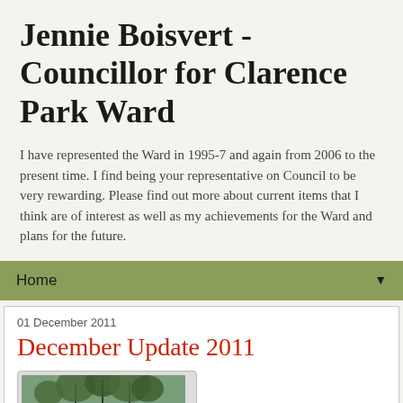Jennie Boisvert - Councillor for Clarence Park Ward
I have represented the Ward in 1995-7 and again from 2006 to the present time. I find being your representative on Council to be very rewarding. Please find out more about current items that I think are of interest as well as my achievements for the Ward and plans for the future.
Home ▼
01 December 2011
December Update 2011
[Figure (photo): Outdoor photo of trees and a structure, likely a park shelter or pavilion in Clarence Park Ward]
Kelvin Ave ;The consultation for this has now